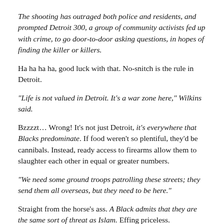The shooting has outraged both police and residents, and prompted Detroit 300, a group of community activists fed up with crime, to go door-to-door asking questions, in hopes of finding the killer or killers.
Ha ha ha ha, good luck with that. No-snitch is the rule in Detroit.
"Life is not valued in Detroit. It's a war zone here," Wilkins said.
Bzzzzt… Wrong! It's not just Detroit, it's everywhere that Blacks predominate. If food weren't so plentiful, they'd be cannibals. Instead, ready access to firearms allow them to slaughter each other in equal or greater numbers.
"We need some ground troops patrolling these streets; they send them all overseas, but they need to be here."
Straight from the horse's ass. A Black admits that they are the same sort of threat as Islam. Effing priceless.